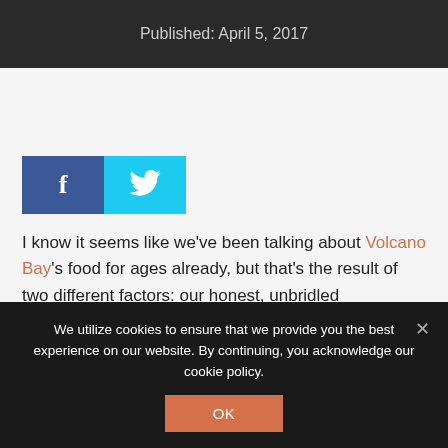Published: April 5, 2017
[Figure (other): Social share buttons: Facebook (dark blue) and Twitter (cyan) icons]
I know it seems like we've been talking about Volcano Bay's food for ages already, but that's the result of two different factors: our honest, unbridled enthusiasm for the South Pacific cuisine, and Universal's attempts to create
We utilize cookies to ensure that we provide you the best experience on our website. By continuing, you acknowledge our cookie policy.